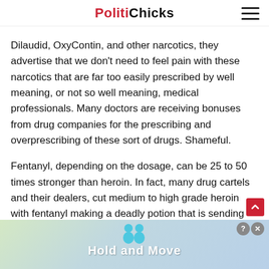PolitiChicks
Dilaudid, OxyContin, and other narcotics, they advertise that we don't need to feel pain with these narcotics that are far too easily prescribed by well meaning, or not so well meaning, medical professionals. Many doctors are receiving bonuses from drug companies for the prescribing and overprescribing of these sort of drugs. Shameful.
Fentanyl, depending on the dosage, can be 25 to 50 times stronger than heroin. In fact, many drug cartels and their dealers, cut medium to high grade heroin with fentanyl making a deadly potion that is sending many addicts into a permanent embrace with the Greek God Morpheus. The overdose death rate for heroin is decreasing while the rate of death due to fentanyl use and abuse is increasing. Many addicts are not sure if they are getting heroin or fentanyl from street dealers.
[Figure (screenshot): Advertisement banner for 'Hold and Move' app featuring cartoon figures and close/help buttons]